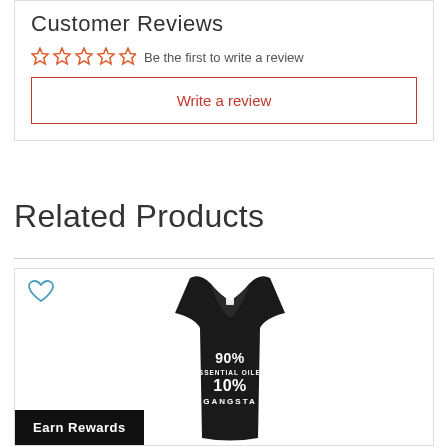Customer Reviews
Be the first to write a review
Write a review
Related Products
[Figure (photo): Black racerback tank top with text '90% ESSENTIAL OILER 10% GANGSTA' printed in white on the front. A heart/wishlist icon appears in the top left corner of the card.]
Earn Rewards